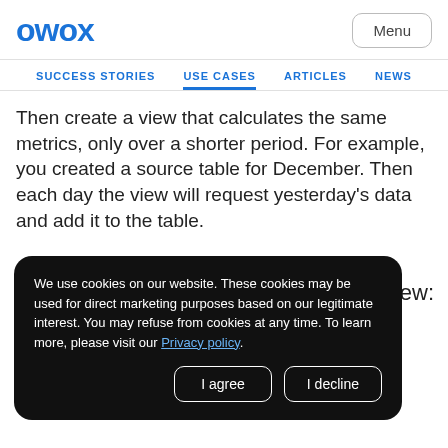OWOX
Menu
SUCCESS STORIES   USE CASES   ARTICLES   NEWS
Then create a view that calculates the same metrics, only over a shorter period. For example, you created a source table for December. Then each day the view will request yesterday's data and add it to the table.
We use cookies on our website. These cookies may be used for direct marketing purposes based on our legitimate interest. You may refuse from cookies at any time. To learn more, please visit our Privacy policy.
I agree   I decline